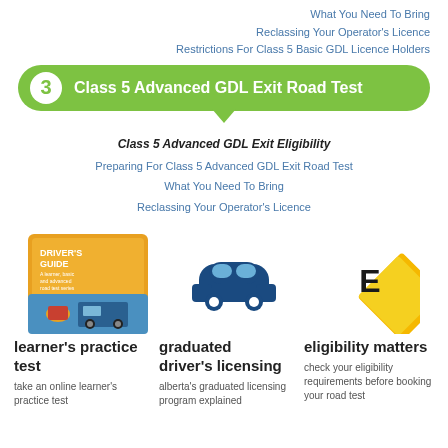What You Need To Bring
Reclassing Your Operator's Licence
Restrictions For Class 5 Basic GDL Licence Holders
3  Class 5 Advanced GDL Exit Road Test
Class 5 Advanced GDL Exit Eligibility
Preparing For Class 5 Advanced GDL Exit Road Test
What You Need To Bring
Reclassing Your Operator's Licence
[Figure (illustration): Driver's Guide book cover showing vehicles and city]
[Figure (illustration): Blue car icon for graduated driver's licensing]
[Figure (illustration): Yellow diamond E sign for eligibility matters]
learner's practice test
take an online learner's practice test
graduated driver's licensing
alberta's graduated licensing program explained
eligibility matters
check your eligibility requirements before booking your road test